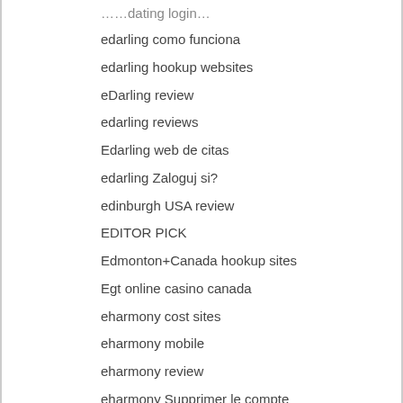edarling como funciona
edarling hookup websites
eDarling review
edarling reviews
Edarling web de citas
edarling Zaloguj si?
edinburgh USA review
EDITOR PICK
Edmonton+Canada hookup sites
Egt online casino canada
eharmony cost sites
eharmony mobile
eharmony review
eharmony Supprimer le compte
eharmony visitors
eharmony vs christian mingle full guide
eharmony vs okcupid full guide
eharmony-vs-christian-mingle site
eharmony-vs-okcupid app